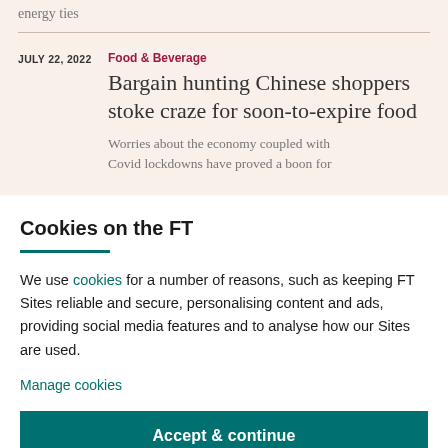energy ties
JULY 22, 2022
Food & Beverage
Bargain hunting Chinese shoppers stoke craze for soon-to-expire food
Worries about the economy coupled with Covid lockdowns have proved a boon for
Cookies on the FT
We use cookies for a number of reasons, such as keeping FT Sites reliable and secure, personalising content and ads, providing social media features and to analyse how our Sites are used.
Manage cookies
Accept & continue